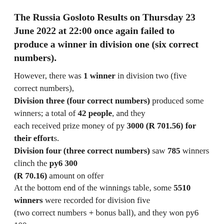The Russia Gosloto Results on Thursday 23 June 2022 at 22:00 once again failed to produce a winner in division one (six correct numbers).
However, there was 1 winner in division two (five correct numbers), Division three (four correct numbers) produced some winners; a total of 42 people, and they each received prize money of py 3000 (R 701.56) for their efforts. Division four (three correct numbers) saw 785 winners clinch the py6 300 (R 70.16) amount on offer At the bottom end of the winnings table, some 5510 winners were recorded for division five (two correct numbers + bonus ball), and they won py6 100 (R23.39) each.